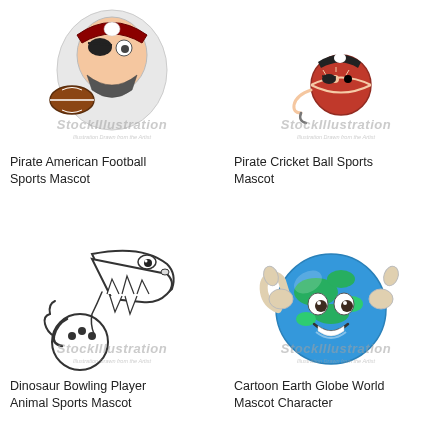[Figure (illustration): Pirate American Football Sports Mascot illustration with StockIllustration watermark]
Pirate American Football Sports Mascot
[Figure (illustration): Pirate Cricket Ball Sports Mascot illustration with StockIllustration watermark]
Pirate Cricket Ball Sports Mascot
[Figure (illustration): Dinosaur Bowling Player Animal Sports Mascot illustration - black and white line art of T-Rex with bowling ball, StockIllustration watermark]
Dinosaur Bowling Player Animal Sports Mascot
[Figure (illustration): Cartoon Earth Globe World Mascot Character - colorful globe with face giving thumbs up, StockIllustration watermark]
Cartoon Earth Globe World Mascot Character